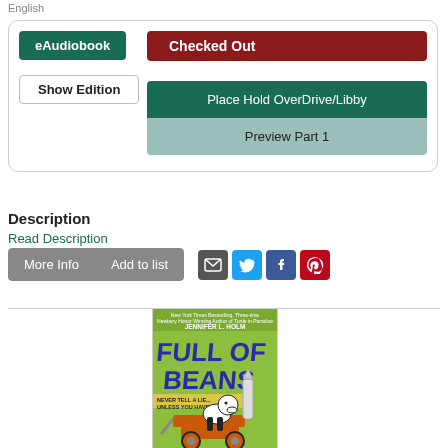English
eAudiobook
Checked Out
Show Edition
Place Hold OverDrive/Libby
Preview Part 1
Description
Read Description
More Info
Add to list
[Figure (illustration): Book cover of 'Full of Beans' by Jennifer L. Holm, showing a dog in an orange wagon on a green background with the text 'NEVER TELL A LIE... UNLESS YOU HAVE TO']
[Figure (illustration): Grey circular scroll-up button with white upward arrow]